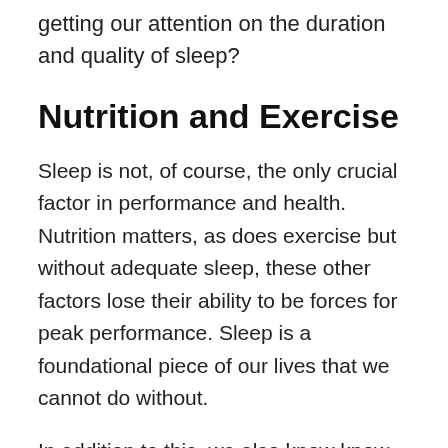getting our attention on the duration and quality of sleep?
Nutrition and Exercise
Sleep is not, of course, the only crucial factor in performance and health. Nutrition matters, as does exercise but without adequate sleep, these other factors lose their ability to be forces for peak performance. Sleep is a foundational piece of our lives that we cannot do without.
In addition to this, we also know know that timing matters. Not all parts of the day are equal.
This...